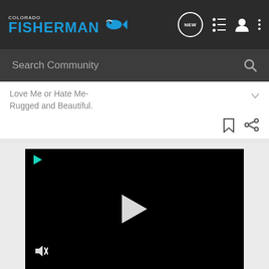Colorado Fisherman — Navigation bar with logo, NEW button, list icon, user icon, menu icon
Search Community
Love Me or Hate Me- Rugged and Beautiful.
[Figure (screenshot): Black video player with white play button in center, small teal play icon top-left, mute icon bottom-left]
[Figure (photo): Chevrolet advertisement banner: THE NEW 2022 SILVERADO. with Explore button, truck image, and Chevrolet logo]